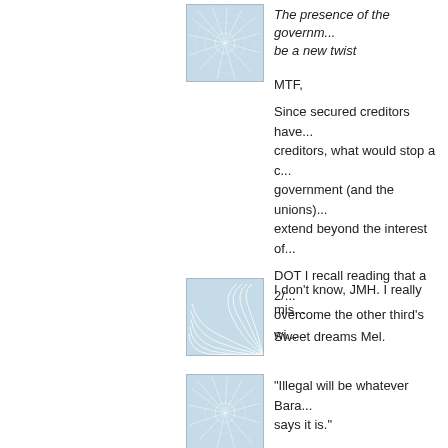[Figure (illustration): Blue abstract network/starburst avatar icon, first post]
The presence of the governm... be a new twist
MTF,
Since secured creditors have... creditors, what would stop a c... government (and the unions)... extend beyond the interest of...
DOT I recall reading that a 2/... overcome the other third's wi...
[Figure (illustration): Blue abstract swirl/shell avatar icon, second post]
I don't know, JMH. I really mis...
Sweet dreams Mel.
[Figure (illustration): Blue abstract network/starburst avatar icon, third post]
"Illegal will be whatever Bara... says it is."
FIFY.